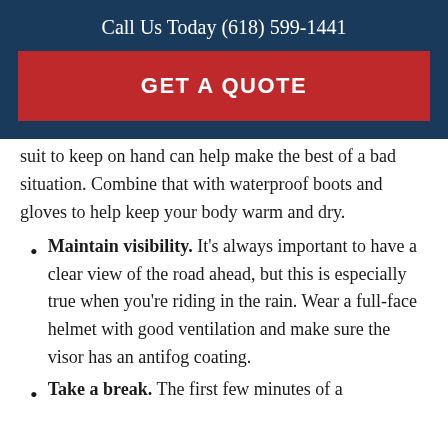Call Us Today (618) 599-1441
GET A QUOTE
suit to keep on hand can help make the best of a bad situation. Combine that with waterproof boots and gloves to help keep your body warm and dry.
Maintain visibility. It's always important to have a clear view of the road ahead, but this is especially true when you're riding in the rain. Wear a full-face helmet with good ventilation and make sure the visor has an antifog coating.
Take a break. The first few minutes of a